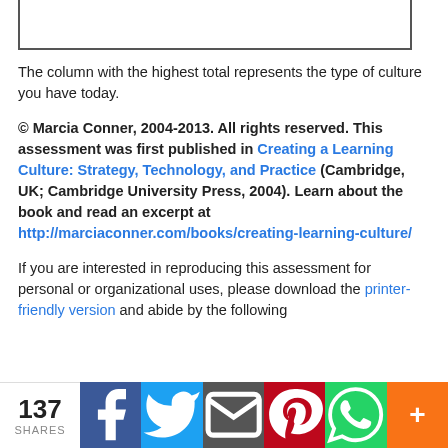[Figure (other): Top portion of a bordered table or box, cut off at top of page]
The column with the highest total represents the type of culture you have today.
© Marcia Conner, 2004-2013. All rights reserved. This assessment was first published in Creating a Learning Culture: Strategy, Technology, and Practice (Cambridge, UK; Cambridge University Press, 2004). Learn about the book and read an excerpt at http://marciaconner.com/books/creating-learning-culture/
If you are interested in reproducing this assessment for personal or organizational uses, please download the printer-friendly version and abide by the following
137 SHARES | Facebook | Twitter | Email | Pinterest | WhatsApp | More